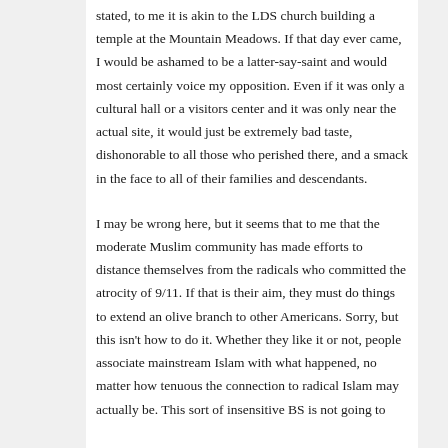stated, to me it is akin to the LDS church building a temple at the Mountain Meadows. If that day ever came, I would be ashamed to be a latter-say-saint and would most certainly voice my opposition. Even if it was only a cultural hall or a visitors center and it was only near the actual site, it would just be extremely bad taste, dishonorable to all those who perished there, and a smack in the face to all of their families and descendants.
I may be wrong here, but it seems that to me that the moderate Muslim community has made efforts to distance themselves from the radicals who committed the atrocity of 9/11. If that is their aim, they must do things to extend an olive branch to other Americans. Sorry, but this isn't how to do it. Whether they like it or not, people associate mainstream Islam with what happened, no matter how tenuous the connection to radical Islam may actually be. This sort of insensitive BS is not going to